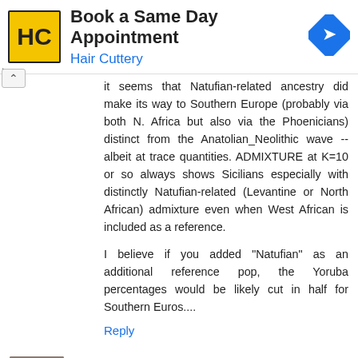[Figure (other): Hair Cuttery advertisement banner with logo and navigation icon. Text: 'Book a Same Day Appointment' and 'Hair Cuttery']
It seems that Natufian-related ancestry did make its way to Southern Europe (probably via both N. Africa but also via the Phoenicians) distinct from the Anatolian_Neolithic wave --albeit at trace quantities. ADMIXTURE at K=10 or so always shows Sicilians especially with distinctly Natufian-related (Levantine or North African) admixture even when West African is included as a reference.

I believe if you added "Natufian" as an additional reference pop, the Yoruba percentages would be likely cut in half for Southern Euros....
Reply
Samuel Andrews  January 14, 2017 at 1:20 PM
@Shaikorth,
"The point of the test isn't to measure Yamnaya ancestry